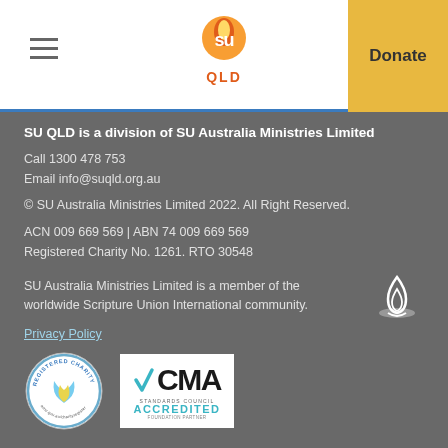SU QLD — Donate
SU QLD is a division of SU Australia Ministries Limited
Call 1300 478 753
Email info@suqld.org.au
© SU Australia Ministries Limited 2022. All Right Reserved.
ACN 009 669 569 | ABN 74 009 669 569
Registered Charity No. 1261. RTO 30548
SU Australia Ministries Limited is a member of the worldwide Scripture Union International community.
Privacy Policy
[Figure (logo): Registered Charity badge — circular seal with 'REGISTERED CHARITY' text and acnc.gov.au/charityregister URL]
[Figure (logo): CMA — Standards Council Accredited Foundation Partner badge]